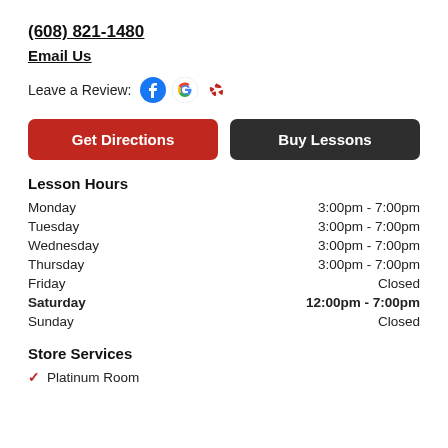(608) 821-1480
Email Us
Leave a Review: [Facebook] [Google] [Yelp]
Get Directions
Buy Lessons
Lesson Hours
| Day | Hours |
| --- | --- |
| Monday | 3:00pm - 7:00pm |
| Tuesday | 3:00pm - 7:00pm |
| Wednesday | 3:00pm - 7:00pm |
| Thursday | 3:00pm - 7:00pm |
| Friday | Closed |
| Saturday | 12:00pm - 7:00pm |
| Sunday | Closed |
Store Services
Platinum Room